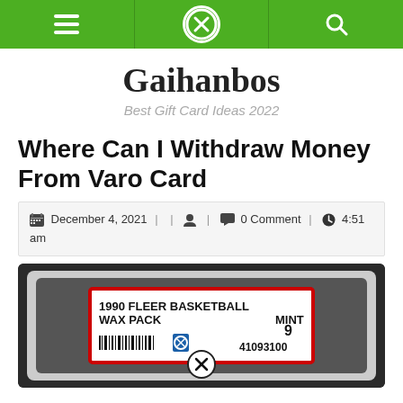[Navigation bar with menu, close, and search icons]
Gaihanbos
Best Gift Card Ideas 2022
Where Can I Withdraw Money From Varo Card
December 4, 2021 | | 👤 | 💬 0 Comment | ⏰ 4:51 am
[Figure (photo): A PSA graded slab showing '1990 FLEER BASKETBALL WAX PACK' with grade MINT 9 and serial number 41093100, on a dark background.]